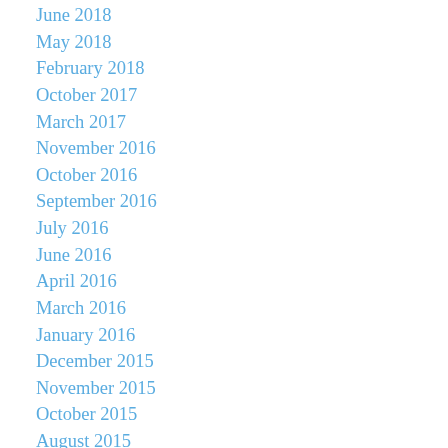June 2018
May 2018
February 2018
October 2017
March 2017
November 2016
October 2016
September 2016
July 2016
June 2016
April 2016
March 2016
January 2016
December 2015
November 2015
October 2015
August 2015
July 2015
June 2015
May 2015
April 2015